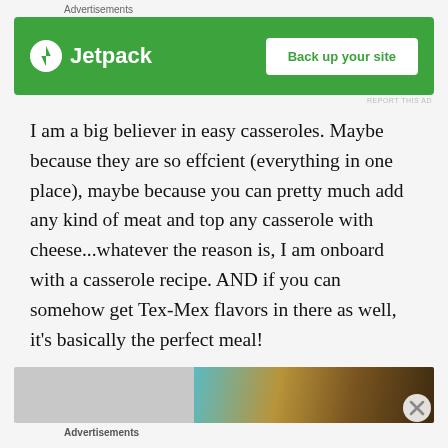Advertisements
[Figure (screenshot): Jetpack advertisement banner with green background showing Jetpack logo and 'Back up your site' button]
REPORT THIS AD
I am a big believer in easy casseroles. Maybe because they are so effcient (everything in one place), maybe because you can pretty much add any kind of meat and top any casserole with cheese...whatever the reason is, I am onboard with a casserole recipe. AND if you can somehow get Tex-Mex flavors in there as well, it's basically the perfect meal!
[Figure (photo): Partial photo of a casserole dish with colorful food]
Advertisements
REPORT THIS AD